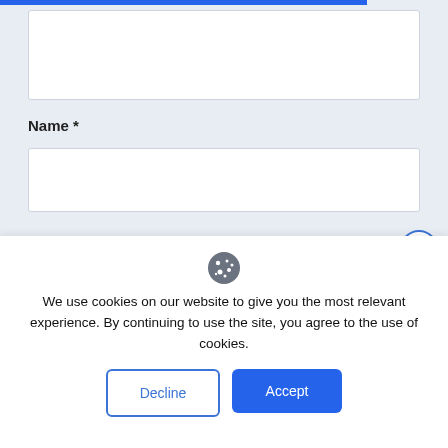[Figure (screenshot): Partially visible web form with a textarea and a Name field input box, on a light blue-gray background. A blue progress bar is visible at the top.]
Name *
Email *
We use cookies on our website to give you the most relevant experience. By continuing to use the site, you agree to the use of cookies.
Decline
Accept